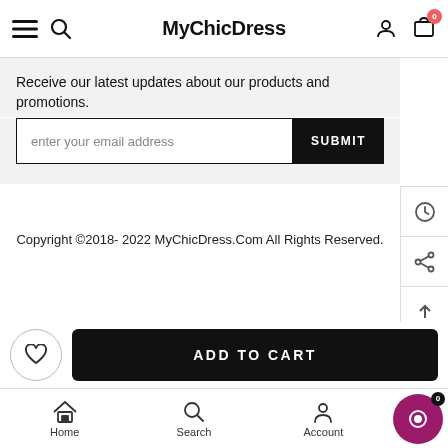MyChicDress
Receive our latest updates about our products and promotions.
enter your email address   SUBMIT
Copyright ©2018- 2022 MyChicDress.Com All Rights Reserved.
ADD TO CART
Home   Search   Account